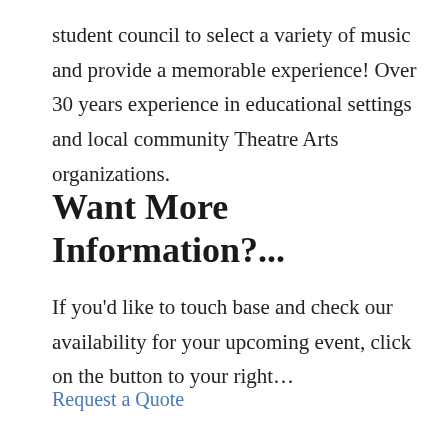student council to select a variety of music and provide a memorable experience!  Over 30 years experience in educational settings and local community Theatre Arts organizations.
Want More Information?...
If you'd like to touch base and check our availability for your upcoming event,  click on the button to your right…
Request a Quote